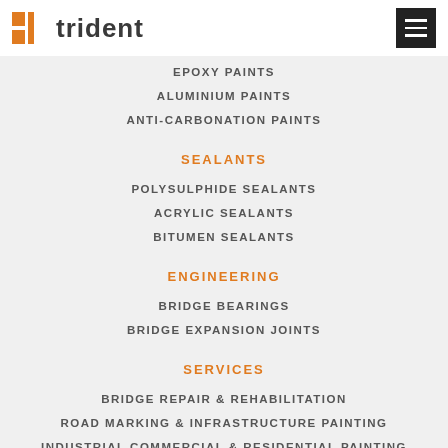trident
EPOXY PAINTS
ALUMINIUM PAINTS
ANTI-CARBONATION PAINTS
SEALANTS
POLYSULPHIDE SEALANTS
ACRYLIC SEALANTS
BITUMEN SEALANTS
ENGINEERING
BRIDGE BEARINGS
BRIDGE EXPANSION JOINTS
SERVICES
BRIDGE REPAIR & REHABILITATION
ROAD MARKING & INFRASTRUCTURE PAINTING
INDUSTRIAL COMMERCIAL & RESIDENTIAL PAINTING